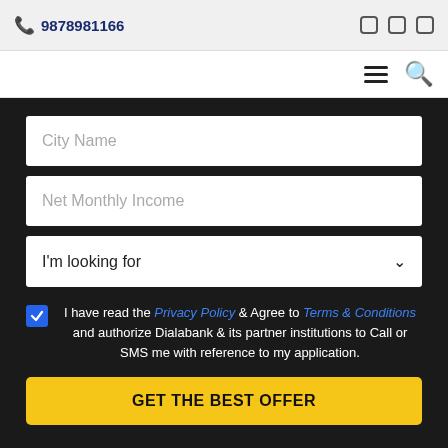📞 9878981166
[Figure (screenshot): Navigation bar with hamburger menu and search icon]
City Name (input field placeholder)
Net Monthly Income (input field placeholder)
I'm looking for (dropdown)
I have read the Privacy Policy & Agree to Terms & Conditions and authorize Dialabank & its partner institutions to Call or SMS me with reference to my application.
GET THE BEST OFFER